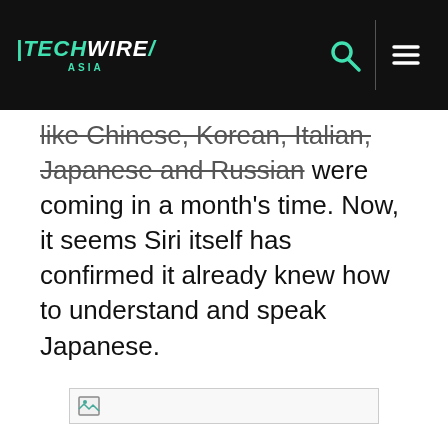TechWire Asia
like Chinese, Korean, Italian, Japanese and Russian were coming in a month's time. Now, it seems Siri itself has confirmed it already knew how to understand and speak Japanese.
[Figure (photo): Broken image placeholder with small image icon in a bordered rectangle]